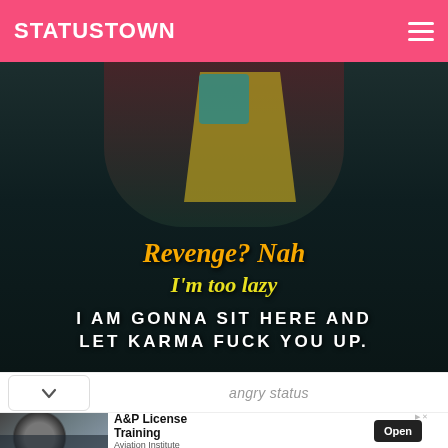STATUSTOWN
[Figure (photo): Dark moody background with a figure wearing a yellow-green shirt and dark jacket, with quote text overlay: 'Revenge? Nah I'm too lazy I AM GONNA SIT HERE AND LET KARMA FUCK YOU UP.']
angry status
[Figure (photo): Advertisement: A&P License Training - Aviation Institute. Shows aircraft jet engine with workers. Open button.]